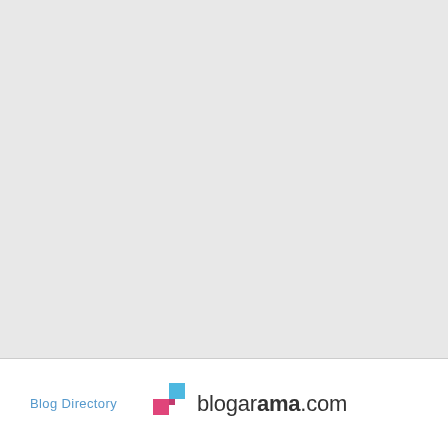[Figure (other): Large light gray empty content area filling the upper portion of the page]
Blog Directory   blogarama.com